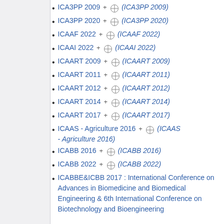ICA3PP 2009 + (globe) (ICA3PP 2009)
ICA3PP 2020 + (globe) (ICA3PP 2020)
ICAAF 2022 + (globe) (ICAAF 2022)
ICAAI 2022 + (globe) (ICAAI 2022)
ICAART 2009 + (globe) (ICAART 2009)
ICAART 2011 + (globe) (ICAART 2011)
ICAART 2012 + (globe) (ICAART 2012)
ICAART 2014 + (globe) (ICAART 2014)
ICAART 2017 + (globe) (ICAART 2017)
ICAAS - Agriculture 2016 + (globe) (ICAAS - Agriculture 2016)
ICABB 2016 + (globe) (ICABB 2016)
ICABB 2022 + (globe) (ICABB 2022)
ICABBE&ICBB 2017 : International Conference on Advances in Biomedicine and Biomedical Engineering & 6th International Conference on Biotechnology and Bioengineering